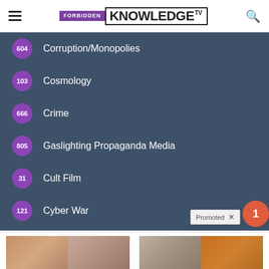[Figure (logo): Forbidden Knowledge TV logo with hamburger menu and search icon]
604 Corruption/Monopolies
103 Cosmology
666 Crime
805 Gaslighting Propaganda Media
31 Cult Film
121 Cyber War
[Figure (photo): Two before/after photos of women from behind showing weight loss results]
These 2 Vegetables Kill Your Belly And Arm Fat Overnight
Find Out More
[Figure (photo): Woman lifting shirt showing stomach and a spoon with spice/supplement powder]
Just 1 Teaspoon Burns Belly Fat Like Crazy!
Find Out More